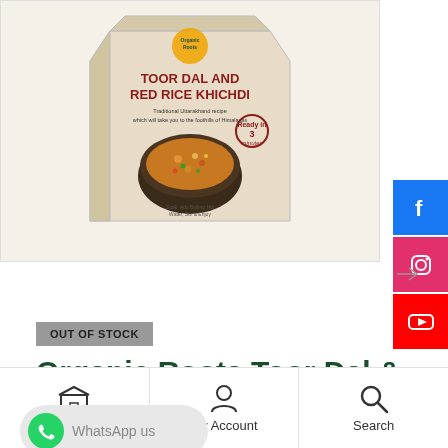[Figure (photo): Product packaging for Organic Roots Toor Dal and Red Rice Khichdi. A box-shaped package with beige/kraft paper background showing the product name in dark red/maroon bold text 'TOOR DAL AND RED RICE KHICHDI', subtitle 'Traditional Uttarakhand recipe which will take you to the foothills of Himalayas', and a bowl of khichdi dish. Organic Roots logo visible at top.]
OUT OF STOCK
Organic Roots Toor Dal & Khichdi | Instant
WhatsApp us
Shop
My Account
Search